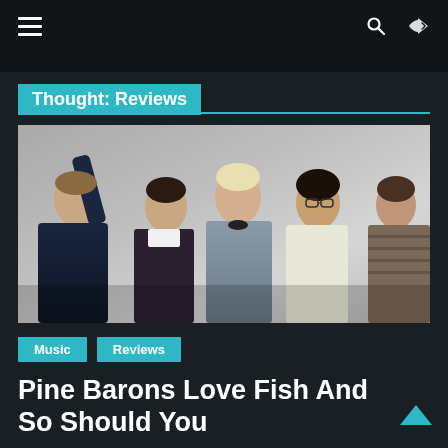≡  🔍  ⇄
Thought: Reviews
[Figure (photo): Five young men posing together against a light background for a band promotional photo. Left to right: man with arm raised wearing dark jacket, man in white shirt, man with blonde hair in grey button-up shirt (center), man with dark curly hair and glasses in white t-shirt, man in striped shirt on far right.]
Music
Reviews
Pine Barons Love Fish And So Should You
July 7, 2022   Enigma